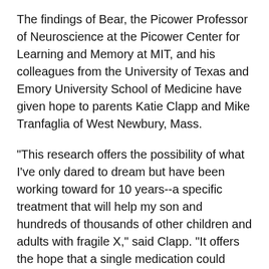The findings of Bear, the Picower Professor of Neuroscience at the Picower Center for Learning and Memory at MIT, and his colleagues from the University of Texas and Emory University School of Medicine have given hope to parents Katie Clapp and Mike Tranfaglia of West Newbury, Mass.
"This research offers the possibility of what I've only dared to dream but have been working toward for 10 years--a specific treatment that will help my son and hundreds of thousands of other children and adults with fragile X," said Clapp. "It offers the hope that a single medication could combat my son's seizures, panic, hyperactivity, and perhaps even enable him to live independently one day."